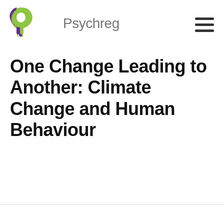Psychreg
One Change Leading to Another: Climate Change and Human Behaviour